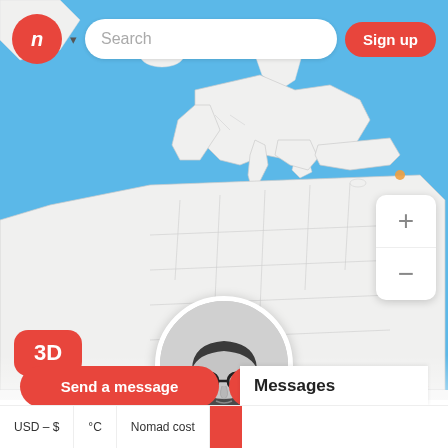[Figure (screenshot): Map view showing Europe and North Africa with blue ocean background and white landmasses with country borders]
Search
Sign up
3D
[Figure (photo): Circular profile photo of a bearded man with glasses, black and white, thinking pose]
@adambard
Send a message
Follow
USD – $
°C
Nomad cost
Messages